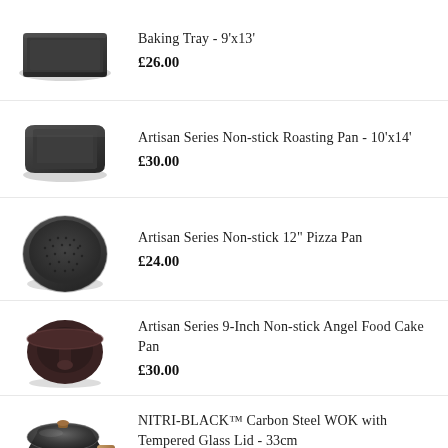Baking Tray - 9'x13'
£26.00
Artisan Series Non-stick Roasting Pan - 10'x14'
£30.00
Artisan Series Non-stick 12" Pizza Pan
£24.00
Artisan Series 9-Inch Non-stick Angel Food Cake Pan
£30.00
NITRI-BLACK™ Carbon Steel WOK with Tempered Glass Lid - 33cm
£42.00